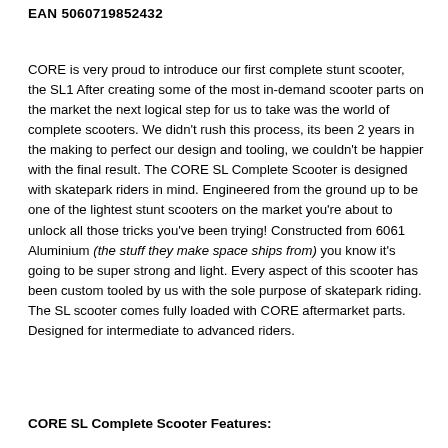EAN 5060719852432
CORE is very proud to introduce our first complete stunt scooter, the SL1 After creating some of the most in-demand scooter parts on the market the next logical step for us to take was the world of complete scooters. We didn't rush this process, its been 2 years in the making to perfect our design and tooling, we couldn't be happier with the final result. The CORE SL Complete Scooter is designed with skatepark riders in mind. Engineered from the ground up to be one of the lightest stunt scooters on the market you're about to unlock all those tricks you've been trying! Constructed from 6061 Aluminium (the stuff they make space ships from) you know it's going to be super strong and light. Every aspect of this scooter has been custom tooled by us with the sole purpose of skatepark riding. The SL scooter comes fully loaded with CORE aftermarket parts. Designed for intermediate to advanced riders.
CORE SL Complete Scooter Features: